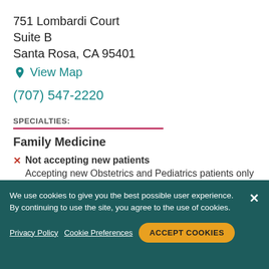751 Lombardi Court
Suite B
Santa Rosa, CA 95401
View Map
(707) 547-2220
SPECIALTIES:
Family Medicine
✕ Not accepting new patients
Accepting new Obstetrics and Pediatrics patients only
We use cookies to give you the best possible user experience. By continuing to use the site, you agree to the use of cookies.
Privacy Policy   Cookie Preferences   ACCEPT COOKIES